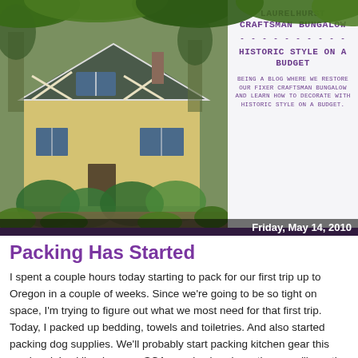[Figure (photo): Photograph of a Craftsman bungalow house with yellow siding, white trim, lush garden in front, and trees behind it. Green foliage frames the top of the image.]
LAURELHURST CRAFTSMAN BUNGALOW
HISTORIC STYLE ON A BUDGET
BEING A BLOG WHERE WE RESTORE OUR FIXER CRAFTSMAN BUNGALOW AND LEARN HOW TO DECORATE WITH HISTORIC STYLE ON A BUDGET.
Friday, May 14, 2010
Packing Has Started
I spent a couple hours today starting to pack for our first trip up to Oregon in a couple of weeks. Since we're going to be so tight on space, I'm trying to figure out what we most need for that first trip. Today, I packed up bedding, towels and toiletries. And also started packing dog supplies. We'll probably start packing kitchen gear this weekend. Luckily, since our SCA gear is already up there, we'll mostly be able to collect the rest in subsequent trips as well...